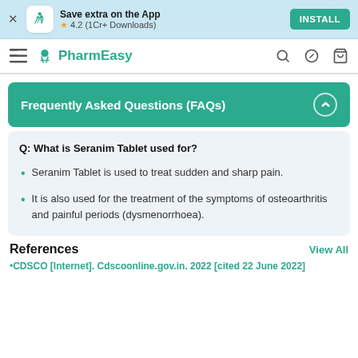Save extra on the App ★ 4.2 (1Cr+ Downloads) INSTALL
PharmEasy
Frequently Asked Questions (FAQs)
Q: What is Seranim Tablet used for?
Seranim Tablet is used to treat sudden and sharp pain.
It is also used for the treatment of the symptoms of osteoarthritis and painful periods (dysmenorrhoea).
References
View All
•CDSCO [Internet]. Cdscoonline.gov.in. 2022 [cited 22 June 2022]